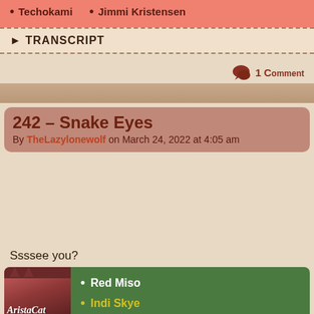Techokami  •  Jimmi Kristensen
▶ TRANSCRIPT
1 Comment
242 – Snake Eyes
By TheLazylonewolf on March 24, 2022 at 4:05 am
Ssssee you?
Red Miso
Indi Skye